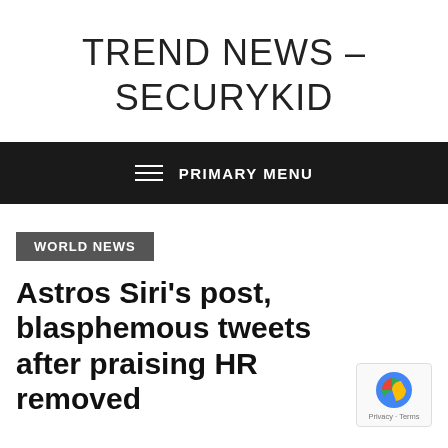TREND NEWS – SECURYKID
PRIMARY MENU
WORLD NEWS
Astros Siri's post, blasphemous tweets after praising HR removed